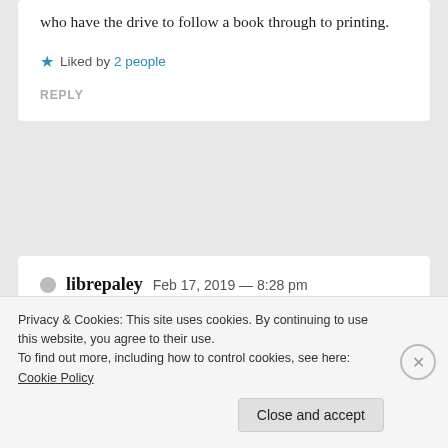who have the drive to follow a book through to printing.
Liked by 2 people
REPLY
librepaley Feb 17, 2019 — 8:28 pm
Thank you, you've been kind. I know what you...
Privacy & Cookies: This site uses cookies. By continuing to use this website, you agree to their use.
To find out more, including how to control cookies, see here: Cookie Policy
Close and accept